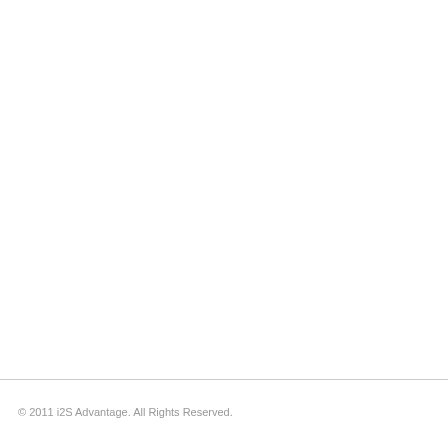© 2011 i2S Advantage. All Rights Reserved.